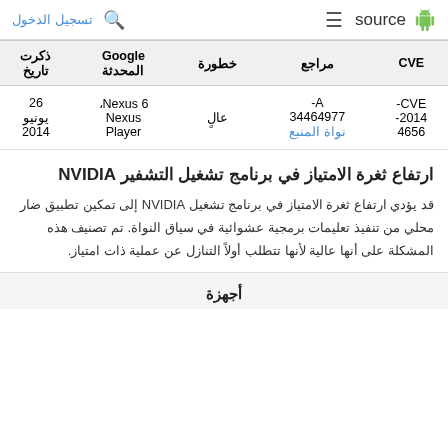تسجيل الدخول   🔍   source   ☰
| CVE | مراجع | خطورة | Google المحدثة | ذكرت تاريخ |
| --- | --- | --- | --- | --- |
| CVE-
2014-
4656 | A-
34464977
نواة المنبع | عالٍ | Nexus 6،
Nexus
Player | 26
يونيو
2014 |
ارتفاع ثغرة الامتياز في برنامج تشغيل التشفير NVIDIA
قد يؤدي ارتفاع ثغرة الامتياز في برنامج تشغيل NVIDIA إلى تمكين تطبيق ضار محلي من تنفيذ تعليمات برمجية عشوائية في سياق النواة. تم تصنيف هذه المشكلة على أنها عالية لأنها تتطلب أولاً التنازل عن عملية ذات امتياز.
أجهزة